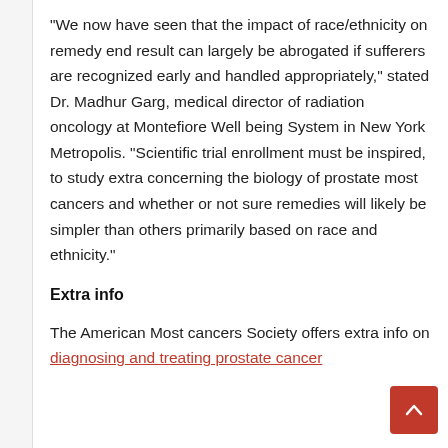“We now have seen that the impact of race/ethnicity on remedy end result can largely be abrogated if sufferers are recognized early and handled appropriately,” stated Dr. Madhur Garg, medical director of radiation oncology at Montefiore Well being System in New York Metropolis. “Scientific trial enrollment must be inspired, to study extra concerning the biology of prostate most cancers and whether or not sure remedies will likely be simpler than others primarily based on race and ethnicity.”
Extra info
The American Most cancers Society offers extra info on diagnosing and treating prostate cancer